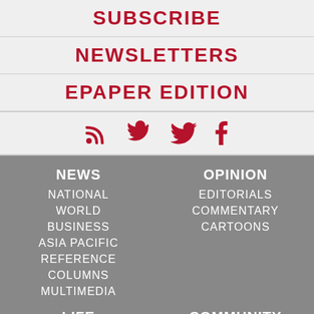SUBSCRIBE
NEWSLETTERS
EPAPER EDITION
[Figure (infographic): Social media icons: RSS feed, Twitter bird, Facebook f — displayed in dark red/crimson color]
NEWS
NATIONAL
WORLD
BUSINESS
ASIA PACIFIC
REFERENCE
COLUMNS
MULTIMEDIA
OPINION
EDITORIALS
COMMENTARY
CARTOONS
LIFE
COMMUNITY